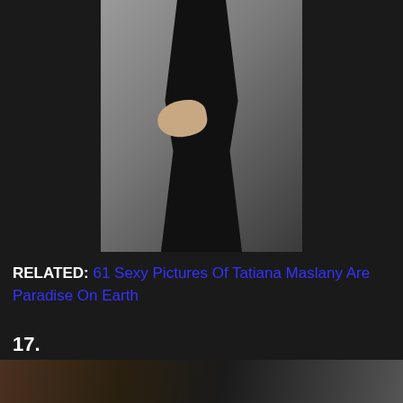[Figure (photo): A woman in a black dress with hand on hip, photographed against a grey background. Only the torso and lower body are visible.]
RELATED: 61 Sexy Pictures Of Tatiana Maslany Are Paradise On Earth
17.
[Figure (photo): A partial photograph showing what appears to be a dark scene, bottom portion of the page.]